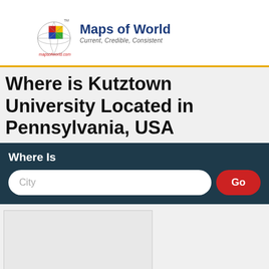Maps of World — Current, Credible, Consistent
Where is Kutztown University Located in Pennsylvania, USA
Where Is
[Figure (screenshot): Search widget with City text input and Go button on dark teal background]
[Figure (map): Map placeholder area showing location of Kutztown University in Pennsylvania]